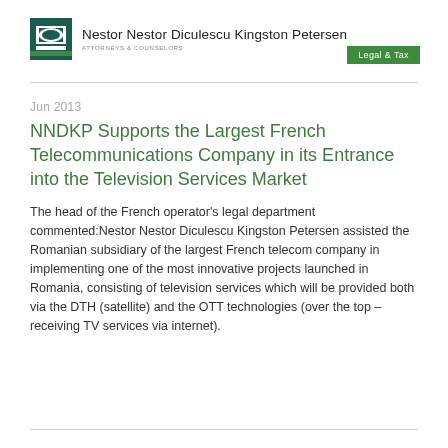Nestor Nestor Diculescu Kingston Petersen — ATTORNEYS & COUNSELORS | Legal & Tax
Jun 2013
NNDKP Supports the Largest French Telecommunications Company in its Entrance into the Television Services Market
The head of the French operator's legal department commented:Nestor Nestor Diculescu Kingston Petersen assisted the Romanian subsidiary of the largest French telecom company in implementing one of the most innovative projects launched in Romania, consisting of television services which will be provided both via the DTH (satellite) and the OTT technologies (over the top – receiving TV services via internet).